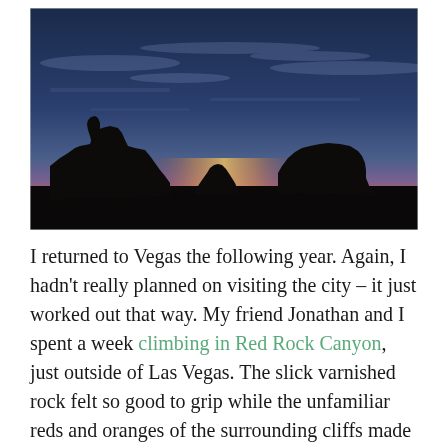[Figure (photo): Dramatic silhouette of Monument Valley buttes at twilight/sunrise. Three large mesa formations are silhouetted against a glowing horizon with orange, red, and pink bands. The sky above is deep blue-purple with wispy clouds.]
I returned to Vegas the following year. Again, I hadn't really planned on visiting the city – it just worked out that way. My friend Jonathan and I spent a week climbing in Red Rock Canyon, just outside of Las Vegas. The slick varnished rock felt so good to grip while the unfamiliar reds and oranges of the surrounding cliffs made me pause